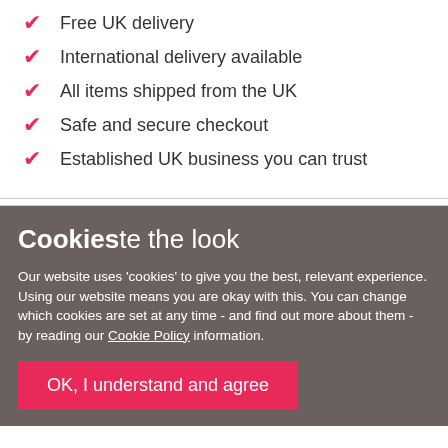Free UK delivery
International delivery available
All items shipped from the UK
Safe and secure checkout
Established UK business you can trust
Cookieste the look
Our website uses 'cookies' to give you the best, relevant experience. Using our website means you are okay with this. You can change which cookies are set at any time - and find out more about them - by reading our Cookie Policy information.
OK, I understand and agree